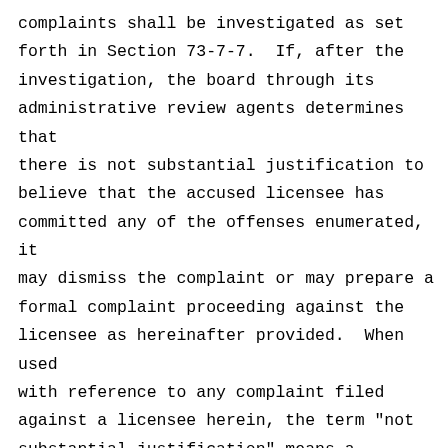complaints shall be investigated as set forth in Section 73-7-7.  If, after the investigation, the board through its administrative review agents determines that there is not substantial justification to believe that the accused licensee has committed any of the offenses enumerated, it may dismiss the complaint or may prepare a formal complaint proceeding against the licensee as hereinafter provided.  When used with reference to any complaint filed against a licensee herein, the term "not substantial justification" means a complaint that is frivolous, groundless in fact or